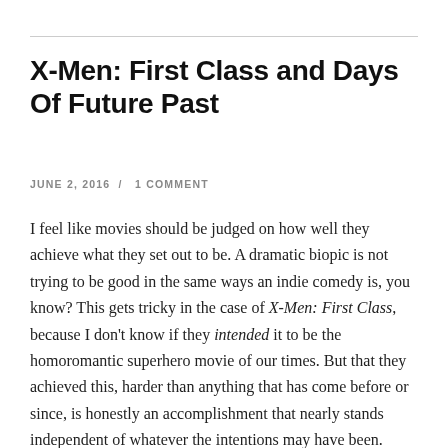X-Men: First Class and Days Of Future Past
JUNE 2, 2016  /  1 COMMENT
I feel like movies should be judged on how well they achieve what they set out to be. A dramatic biopic is not trying to be good in the same ways an indie comedy is, you know? This gets tricky in the case of X-Men: First Class, because I don't know if they intended it to be the homoromantic superhero movie of our times. But that they achieved this, harder than anything that has come before or since, is honestly an accomplishment that nearly stands independent of whatever the intentions may have been.